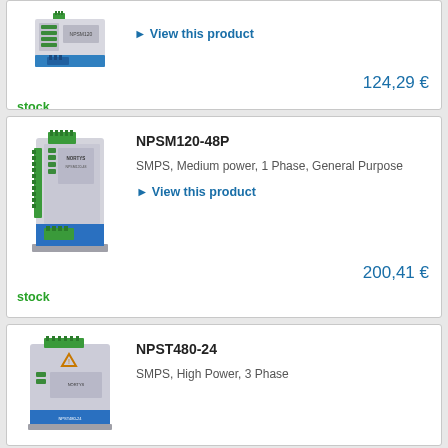[Figure (photo): Product image of a DIN-rail SMPS power supply unit (partial view at top)]
View this product
124,29 €
stock
NPSM120-48P
SMPS, Medium power, 1 Phase, General Purpose
View this product
200,41 €
stock
NPST480-24
SMPS, High Power, 3 Phase